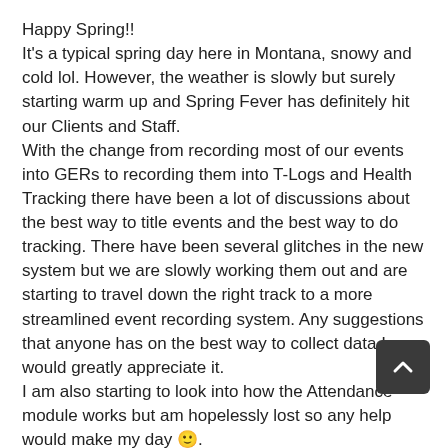Happy Spring!!
It's a typical spring day here in Montana, snowy and cold lol. However, the weather is slowly but surely starting warm up and Spring Fever has definitely hit our Clients and Staff.
With the change from recording most of our events into GERs to recording them into T-Logs and Health Tracking there have been a lot of discussions about the best way to title events and the best way to do tracking. There have been several glitches in the new system but we are slowly working them out and are starting to travel down the right track to a more streamlined event recording system. Any suggestions that anyone has on the best way to collect data I would greatly appreciate it.
I am also starting to look into how the Attendance module works but am hopelessly lost so any help would make my day 🙂.